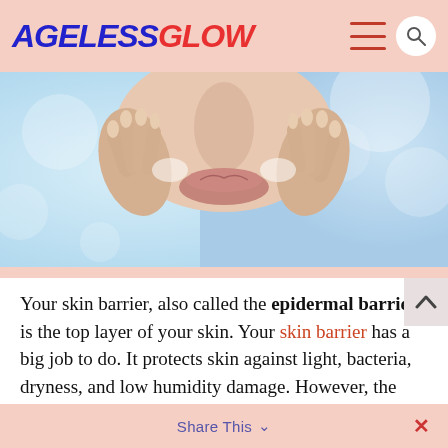AGELESS GLOW
[Figure (photo): Close-up of a woman's lower face and hands with fingers touching her cheeks, with bokeh light blue background — skincare imagery]
Your skin barrier, also called the epidermal barrier, is the top layer of your skin. Your skin barrier has a big job to do. It protects skin against light, bacteria, dryness, and low humidity damage. However, the skin barrier has been ignored and even compromised in
Share This ∨  ×